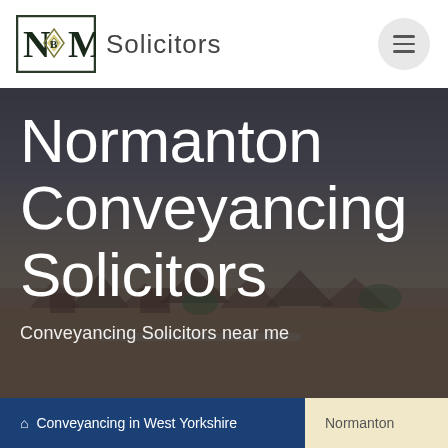[Figure (logo): NBM Solicitors logo — square logo mark with N, B, M letters and diamond/compass rose emblem, followed by 'Solicitors' text]
[Figure (photo): Aerial/elevated view of Normanton town with residential buildings, rooftops and greenery in background, overlaid with dark semi-transparent gradient]
Normanton Conveyancing Solicitors
Conveyancing Solicitors near me
🏠 Conveyancing in West Yorkshire
Normanton